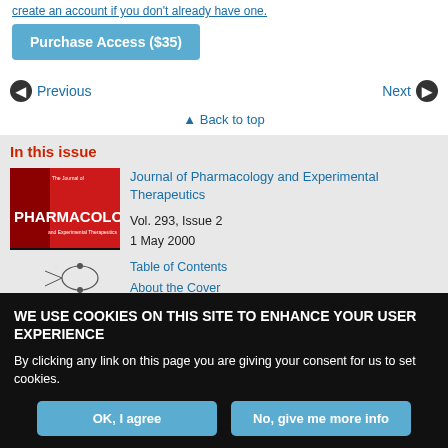create an account if you don't already have one.
Purchase Access ($35)
Previous
Next
Back to top
In this issue
[Figure (illustration): Journal cover image for Journal of Pharmacology and Experimental Therapeutics, red and black design with PHARMACOLOGY text]
Journal of Pharmacology and Experimental Therapeutics
Vol. 293, Issue 2
1 May 2000
Table of Contents
About the Cover
WE USE COOKIES ON THIS SITE TO ENHANCE YOUR USER EXPERIENCE
By clicking any link on this page you are giving your consent for us to set cookies.
OK, I agree
No, give me more info